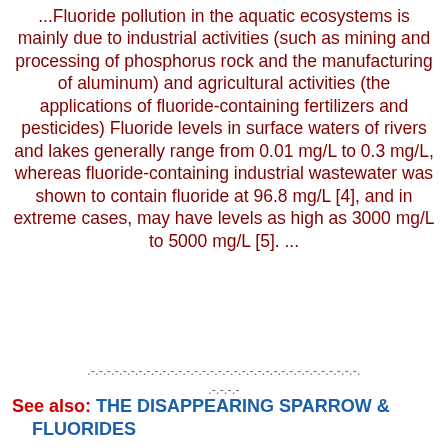...Fluoride pollution in the aquatic ecosystems is mainly due to industrial activities (such as mining and processing of phosphorus rock and the manufacturing of aluminum) and agricultural activities (the applications of fluoride-containing fertilizers and pesticides) Fluoride levels in surface waters of rivers and lakes generally range from 0.01 mg/L to 0.3 mg/L, whereas fluoride-containing industrial wastewater was shown to contain fluoride at 96.8 mg/L [4], and in extreme cases, may have levels as high as 3000 mg/L to 5000 mg/L [5]. ...
.-.-.-.-.-.-.-.-.-.-.-.-.-.-.-.-.-.-.-.-.-.-.-.-.-.-.-.-.-.-. .-.-.-.
See also: THE DISAPPEARING SPARROW & FLUORIDES